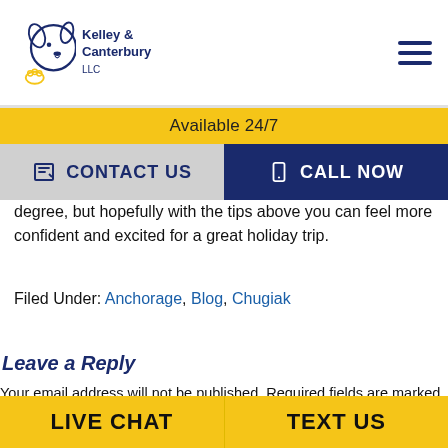Kelley & Canterbury LLC
Available 24/7
CONTACT US | CALL NOW
degree, but hopefully with the tips above you can feel more confident and excited for a great holiday trip.
Filed Under: Anchorage, Blog, Chugiak
Leave a Reply
Your email address will not be published. Required fields are marked *
Comment *
LIVE CHAT | TEXT US